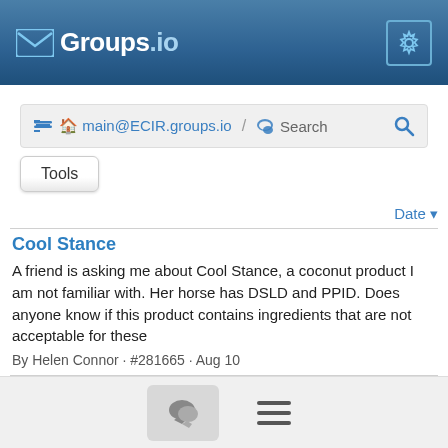[Figure (screenshot): Groups.io navigation bar with logo and gear icon]
main@ECIR.groups.io / Search
Tools
Date
Cool Stance
A friend is asking me about Cool Stance, a coconut product I am not familiar with. Her horse has DSLD and PPID. Does anyone know if this product contains ingredients that are not acceptable for these
By Helen Connor · #281665 · Aug 10
Help Stomp Out Bad Information
chat and menu icons